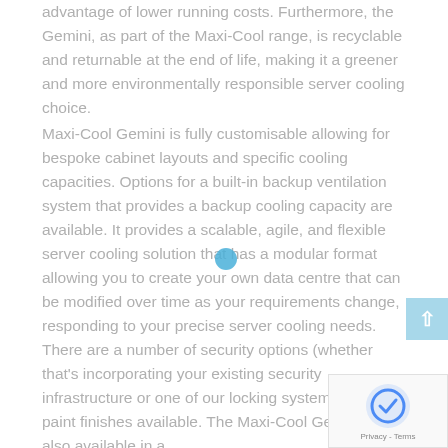advantage of lower running costs. Furthermore, the Gemini, as part of the Maxi-Cool range, is recyclable and returnable at the end of life, making it a greener and more environmentally responsible server cooling choice.
Maxi-Cool Gemini is fully customisable allowing for bespoke cabinet layouts and specific cooling capacities. Options for a built-in backup ventilation system that provides a backup cooling capacity are available. It provides a scalable, agile, and flexible server cooling solution that has a modular format allowing you to create your own data centre that can be modified over time as your requirements change, responding to your precise server cooling needs. There are a number of security options (whether that's incorporating your existing security infrastructure or one of our locking systems) and paint finishes available. The Maxi-Cool Gemini is also available in a